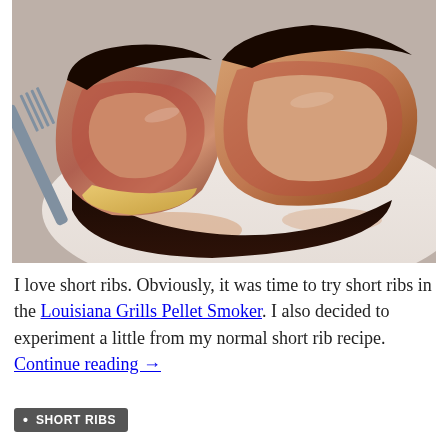[Figure (photo): Close-up photo of smoked beef short ribs on a white plate, sliced open to reveal a pink smoke ring and dark bark crust, with a fork holding one piece. The meat shows layers of smoke-cooked beef with rendered fat.]
I love short ribs. Obviously, it was time to try short ribs in the Louisiana Grills Pellet Smoker. I also decided to experiment a little from my normal short rib recipe. Continue reading →
SHORT RIBS